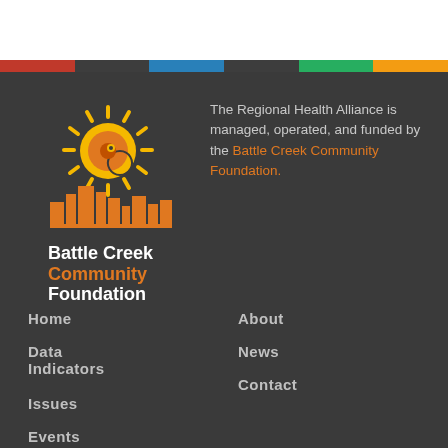[Figure (logo): Battle Creek Community Foundation logo with sun/spiral icon and city skyline silhouette in orange and yellow, with text 'Battle Creek Community Foundation']
The Regional Health Alliance is managed, operated, and funded by the Battle Creek Community Foundation.
Home
Data Indicators
Issues
Events
Initiatives & Resources
About
News
Contact